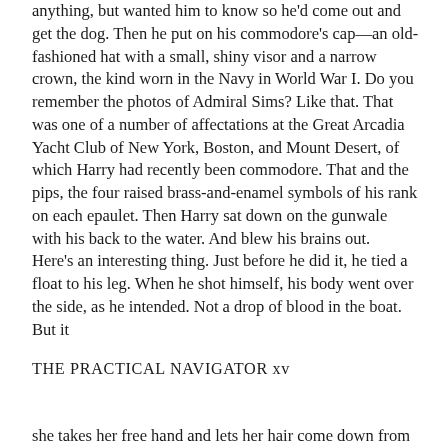anything, but wanted him to know so he'd come out and get the dog. Then he put on his commodore's cap—an old-fashioned hat with a small, shiny visor and a narrow crown, the kind worn in the Navy in World War I. Do you remember the photos of Admiral Sims? Like that. That was one of a number of affectations at the Great Arcadia Yacht Club of New York, Boston, and Mount Desert, of which Harry had recently been commodore. That and the pips, the four raised brass-and-enamel symbols of his rank on each epaulet. Then Harry sat down on the gunwale with his back to the water. And blew his brains out.
Here's an interesting thing. Just before he did it, he tied a float to his leg. When he shot himself, his body went over the side, as he intended. Not a drop of blood in the boat. But it
THE PRACTICAL NAVIGATOR xv
she takes her free hand and lets her hair come down from